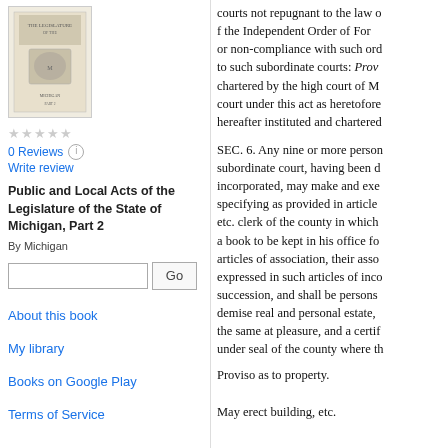[Figure (illustration): Book cover thumbnail for Public and Local Acts of the Legislature of the State of Michigan]
0 Reviews
Write review
Public and Local Acts of the Legislature of the State of Michigan, Part 2
By Michigan
About this book
My library
Books on Google Play
Terms of Service
courts not repugnant to the law of the Independent Order of Fore or non-compliance with such or to such subordinate courts: Prov chartered by the high court of M court under this act as heretofore hereafter instituted and chartered
SEC. 6. Any nine or more person subordinate court, having been d incorporated, may make and exe specifying as provided in article etc. clerk of the county in which a book to be kept in his office fo articles of association, their asso expressed in such articles of inco succession, and shall be persons demise real and personal estate, the same at pleasure, and a certif under seal of the county where th
Proviso as to property.
May erect building, etc.